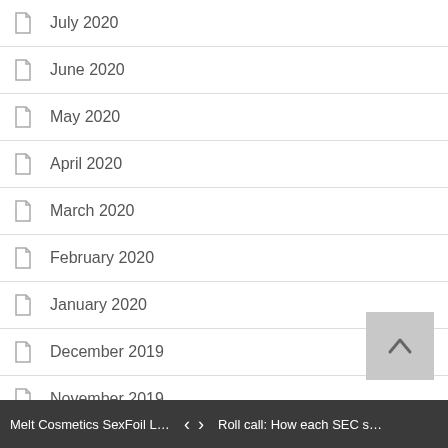July 2020
June 2020
May 2020
April 2020
March 2020
February 2020
January 2020
December 2019
November 2019
October 2019
September 2019
August 2019
July 2019
June 2019
Melt Cosmetics SexFoil Liquid Hi...   <   >   Roll call: How each SEC school w...